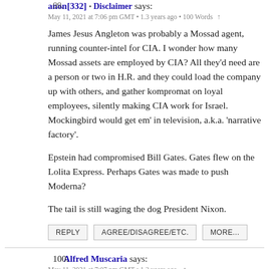99. anon[332] • Disclaimer says:
May 11, 2021 at 7:06 pm GMT • 1.3 years ago • 100 Words ↑
James Jesus Angleton was probably a Mossad agent, running counter-intel for CIA. I wonder how many Mossad assets are employed by CIA? All they'd need are a person or two in H.R. and they could load the company up with others, and gather kompromat on loyal employees, silently making CIA work for Israel. Mockingbird would get em' in television, a.k.a. 'narrative factory'.
Epstein had compromised Bill Gates. Gates flew on the Lolita Express. Perhaps Gates was made to push Moderna?
The tail is still waging the dog President Nixon.
REPLY   AGREE/DISAGREE/ETC.   MORE...
100. Alfred Muscaria says:
May 11, 2021 at 7:07 pm GMT • 1.3 years ago ↑
@northeast